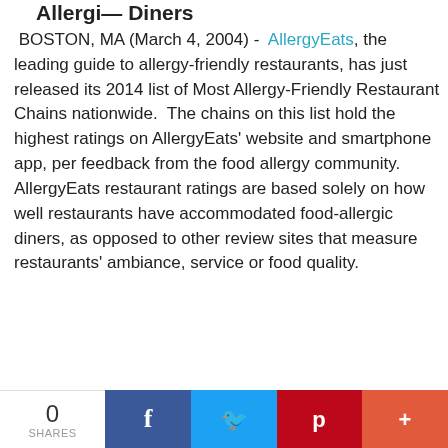Allergi— Diners
BOSTON, MA (March 4, 2004) - AllergyEats, the leading guide to allergy-friendly restaurants, has just released its 2014 list of Most Allergy-Friendly Restaurant Chains nationwide. The chains on this list hold the highest ratings on AllergyEats' website and smartphone app, per feedback from the food allergy community. AllergyEats restaurant ratings are based solely on how well restaurants have accommodated food-allergic diners, as opposed to other review sites that measure restaurants' ambiance, service or food quality.
“We’re pleased to announce the 2014 list of the Most Allergy-Friendly
[Figure (logo): AllergyEats logo: red background with light blue rounded rectangle, plate with fork and knife, red cursive text reading 'Allergy']
0 SHARES | Facebook | Twitter | Pinterest | More